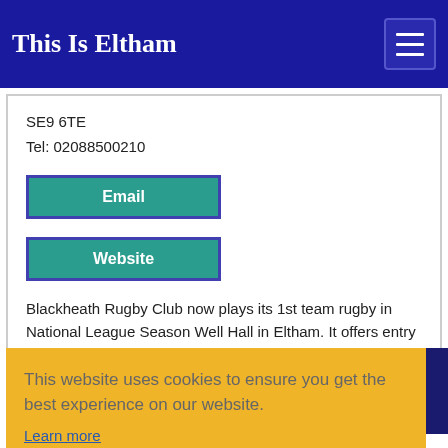This Is Eltham
SE9 6TE
Tel: 02088500210
Email
Website
Blackheath Rugby Club now plays its 1st team rugby in National League Season Well Hall in Eltham. It offers entry d
This website uses cookies to ensure you get the best experience on our website.
Learn more
Got it!